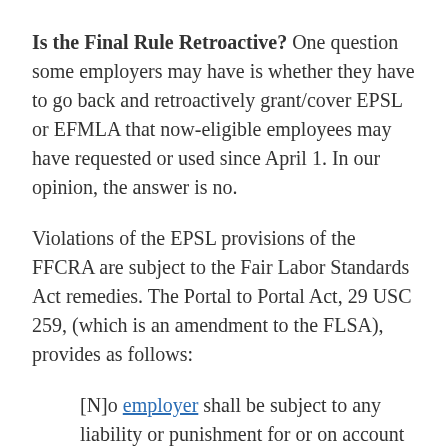Is the Final Rule Retroactive? One question some employers may have is whether they have to go back and retroactively grant/cover EPSL or EFMLA that now-eligible employees may have requested or used since April 1. In our opinion, the answer is no.
Violations of the EPSL provisions of the FFCRA are subject to the Fair Labor Standards Act remedies. The Portal to Portal Act, 29 USC 259, (which is an amendment to the FLSA), provides as follows:
[N]o employer shall be subject to any liability or punishment for or on account of the failure of the employer to pay minimum wages or overtime compensation under the Fair Labor Standards Act of 1938, ... if he pleads and proves that the